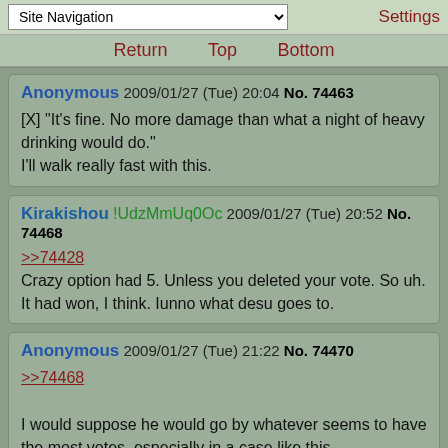Site Navigation | Settings
Return  Top  Bottom
Anonymous 2009/01/27 (Tue) 20:04 No. 74463
[X] "It's fine. No more damage than what a night of heavy drinking would do."
I'll walk really fast with this.
Kirakishou !UdzMmUq0Oc 2009/01/27 (Tue) 20:52 No. 74468
>>74428
Crazy option had 5. Unless you deleted your vote. So uh. It had won, I think. Iunno what desu goes to.
Anonymous 2009/01/27 (Tue) 21:22 No. 74470
>>74468
I would suppose he would go by whatever seems to have the most votes, especially in a case like this,